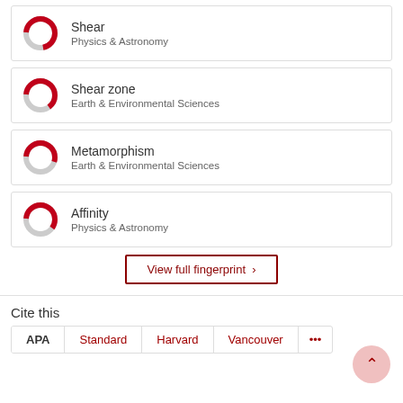Shear — Physics & Astronomy
Shear zone — Earth & Environmental Sciences
Metamorphism — Earth & Environmental Sciences
Affinity — Physics & Astronomy
View full fingerprint ›
Cite this
APA  Standard  Harvard  Vancouver  ...